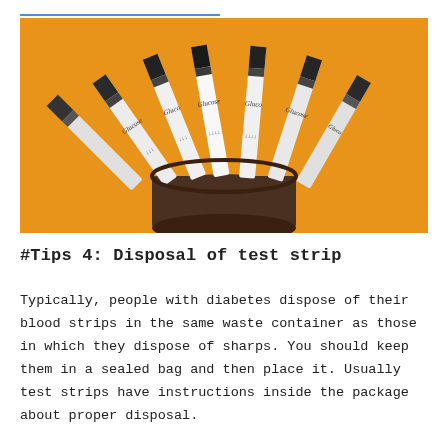[Figure (photo): A cylindrical dark container holding multiple glucose test strips fanned out, with white and gray strips labeled 'Glucose' visible, against an orange background.]
#Tips 4: Disposal of test strip
Typically, people with diabetes dispose of their blood strips in the same waste container as those in which they dispose of sharps. You should keep them in a sealed bag and then place it. Usually test strips have instructions inside the package about proper disposal.